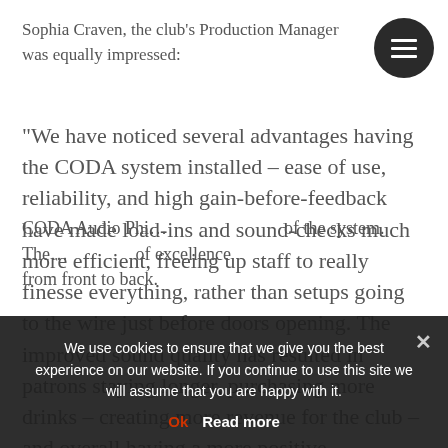Sophia Craven, the club's Production Manager was equally impressed:
“We have noticed several advantages having the CODA system installed – ease of use, reliability, and high gain-before-feedback have made load-ins and sound-checks much more efficient, freeing up staff to really finesse everything, rather than setups going to the wire just before doors opening. The improved sound quality has resulted in patrons staying longer, purchasing more drinks – creating more revenue for the club – and overall having a more positive experience.”
CODA Audio Phi... of the system. Other... from front to back.
We use cookies to ensure that we give you the best experience on our website. If you continue to use this site we will assume that you are happy with it.
Ok
Read more